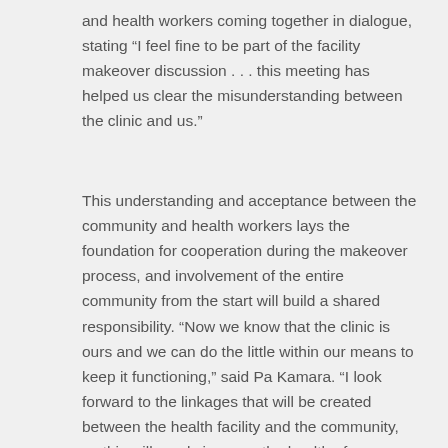and health workers coming together in dialogue, stating “I feel fine to be part of the facility makeover discussion . . . this meeting has helped us clear the misunderstanding between the clinic and us.”
This understanding and acceptance between the community and health workers lays the foundation for cooperation during the makeover process, and involvement of the entire community from the start will build a shared responsibility. “Now we know that the clinic is ours and we can do the little within our means to keep it functioning,” said Pa Kamara. “I look forward to the linkages that will be created between the health facility and the community, as this will surely improve the health of our community.”